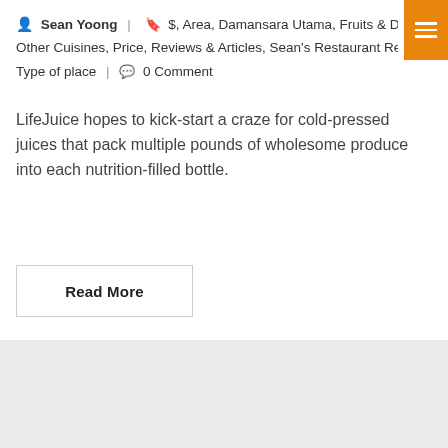Sean Yoong  |  $, Area, Damansara Utama, Fruits & Drinks, Other Cuisines, Price, Reviews & Articles, Sean's Restaurant Reviews, Type of place  |  0 Comment
LifeJuice hopes to kick-start a craze for cold-pressed juices that pack multiple pounds of wholesome produce into each nutrition-filled bottle.
Read More
06 SEP